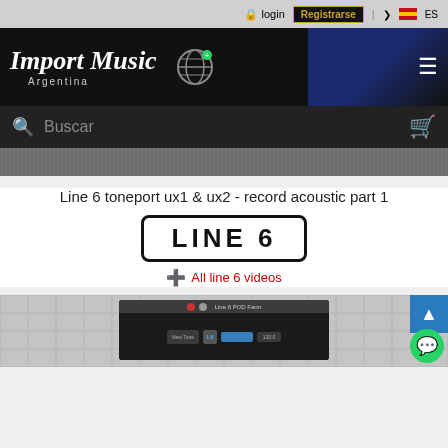login | Registrarse | v ES
[Figure (screenshot): Import Music Argentina website header with logo, globe icon, navigation, search bar with Buscar placeholder, and cart icon]
Line 6 toneport ux1 & ux2 - record acoustic part 1
[Figure (logo): LINE 6 logo in bold black text with border]
All line 6 videos
[Figure (screenshot): Video thumbnail showing Line 6 POD Farm software interface]